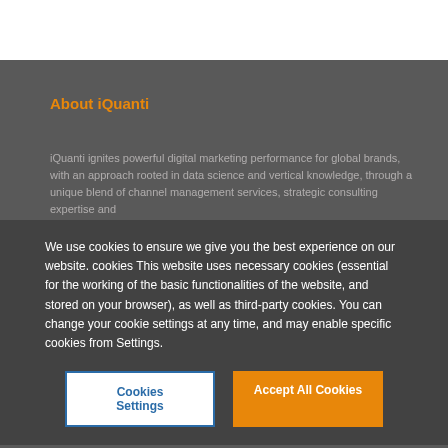About iQuanti
iQuanti ignites powerful digital marketing performance for global brands, with an approach rooted in data science and vertical knowledge, through a unique blend of channel management services, strategic consulting expertise and
We use cookies to ensure we give you the best experience on our website. cookies This website uses necessary cookies (essential for the working of the basic functionalities of the website, and stored on your browser), as well as third-party cookies. You can change your cookie settings at any time, and may enable specific cookies from Settings.
Cookies Settings
Accept All Cookies